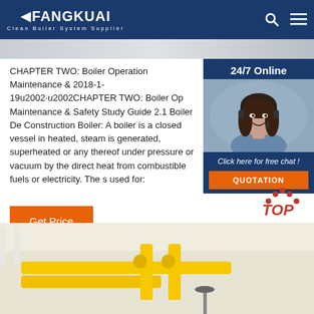FANGKUAI - Clean Boiler System Supplier
[Figure (photo): Hero image strip showing industrial boiler or building interior]
CHAPTER TWO: Boiler Operation Maintenance & 2018-1-19u2002·u2002CHAPTER TWO: Boiler Op Maintenance & Safety Study Guide 2.1 Boiler De Construction Boiler: A boiler is a closed vessel in heated, steam is generated, superheated or any thereof under pressure or vacuum by the direct heat from combustible fuels or electricity. The s used for:
[Figure (photo): 24/7 Online sidebar with woman wearing headset customer service representative and QUOTATION button]
[Figure (photo): Bottom image showing yellow industrial pipes/boiler equipment]
[Figure (other): TOP scroll-to-top icon with red dots arch and red italic TOP text]